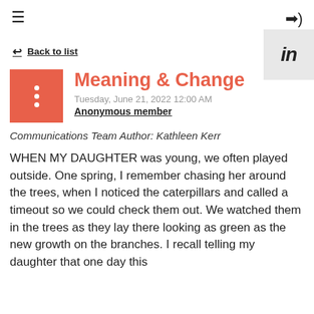☰  ➡)
[Figure (logo): LinkedIn logo in a grey square box, top right]
← Back to list
Meaning & Change
Tuesday, June 21, 2022 12:00 AM
Anonymous member
Communications Team Author: Kathleen Kerr
WHEN MY DAUGHTER was young, we often played outside. One spring, I remember chasing her around the trees, when I noticed the caterpillars and called a timeout so we could check them out. We watched them in the trees as they lay there looking as green as the new growth on the branches. I recall telling my daughter that one day this caterpillar will become a beautiful butterfly and be able to fly from the